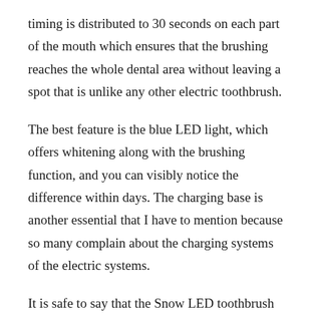timing is distributed to 30 seconds on each part of the mouth which ensures that the brushing reaches the whole dental area without leaving a spot that is unlike any other electric toothbrush.
The best feature is the blue LED light, which offers whitening along with the brushing function, and you can visibly notice the difference within days. The charging base is another essential that I have to mention because so many complain about the charging systems of the electric systems.
It is safe to say that the Snow LED toothbrush is different and easy, which is USB supported, making it easy and simple to charge the toothbrush. The product is compact and sleek, so it does not take a lot of space and makes